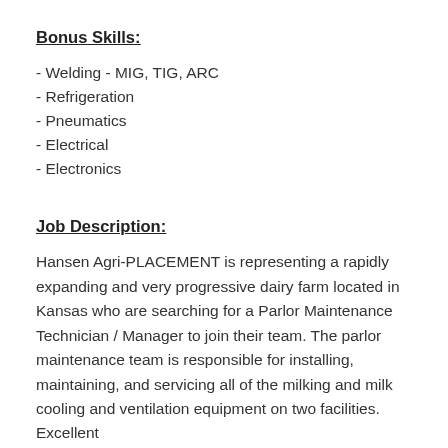Bonus Skills:
- Welding - MIG, TIG, ARC
- Refrigeration
- Pneumatics
- Electrical
- Electronics
Job Description:
Hansen Agri-PLACEMENT is representing a rapidly expanding and very progressive dairy farm located in Kansas who are searching for a Parlor Maintenance Technician / Manager to join their team. The parlor maintenance team is responsible for installing, maintaining, and servicing all of the milking and milk cooling and ventilation equipment on two facilities. Excellent